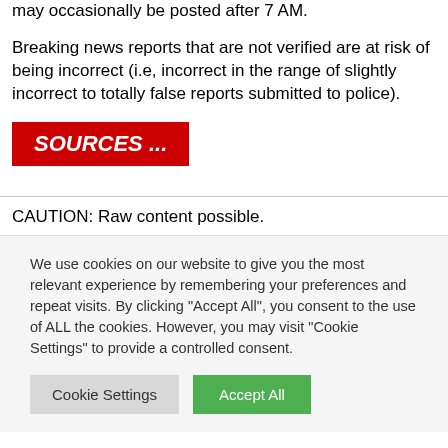may occasionally be posted after 7 AM.
Breaking news reports that are not verified are at risk of being incorrect (i.e, incorrect in the range of slightly incorrect to totally false reports submitted to police).
SOURCES ...
CAUTION: Raw content possible.
We use cookies on our website to give you the most relevant experience by remembering your preferences and repeat visits. By clicking "Accept All", you consent to the use of ALL the cookies. However, you may visit "Cookie Settings" to provide a controlled consent.